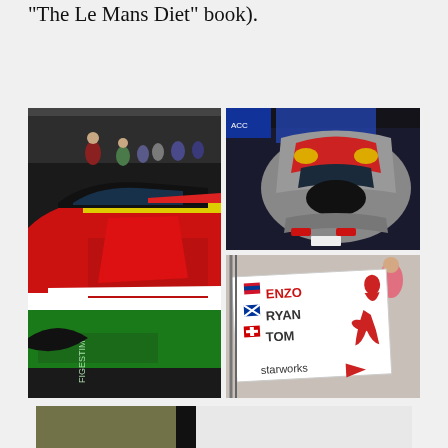“The Le Mans Diet” book).
[Figure (photo): Three racing photos arranged in a grid: left - red Ferrari GT racing car in pit lane with mechanics; top right - silver/red Porsche GT race car from overhead angle; bottom right - Starworks team pit board showing driver names ENZO, RYAN, TOM with national flags and red pin-up girl illustration]
[Figure (photo): Partial bottom photo of what appears to be a racing scene, partially obscured]